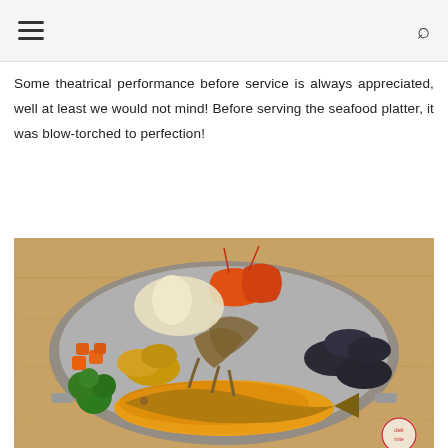Some theatrical performance before service is always appreciated, well at least we would not mind! Before serving the seafood platter, it was blow-torched to perfection!
[Figure (photo): A seafood platter served on a silver tray, containing grilled fish with yellow/orange sauce, squid/noodles, mussels, prawns, fried items, broccoli, and carrots, placed on a wooden table surface. A small circular logo/watermark is visible in the bottom right corner.]
[Figure (photo): Partial view of another food dish, partially cut off at the bottom of the page.]